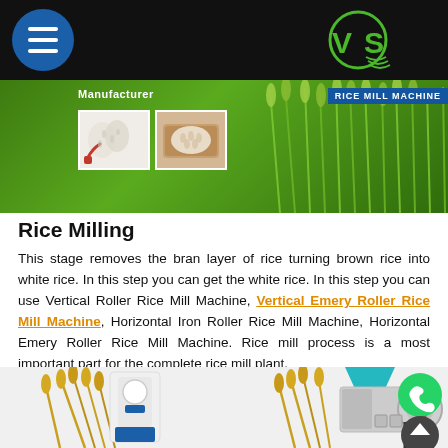Menu | VS Rice Mill Machine — Manufacturer
[Figure (screenshot): Green banner with rice stalks, 'Manufacturer' text, two small thumbnail images of white rice, and 'RICE MILL MACHINE' label on right side. VS logo with circular graphic in top right corner of nav bar.]
Rice Milling
This stage removes the bran layer of rice turning brown rice into white rice. In this step you can get the white rice. In this step you can use Vertical Roller Rice Mill Machine, Vertical Emery Roller Rice Mill Machine, Horizontal Iron Roller Rice Mill Machine, Horizontal Emery Roller Rice Mill Machine. Rice mill process is a most important part for the complete rice mill plant.
[Figure (photo): Two rice milling machines shown side by side. Left machine is white vertical roller mill with rice stalks decoration. Right machine is a teal/green and grey horizontal roller rice mill with rice stalks decoration. WhatsApp green circular button and dark scroll-to-top arrow button visible in bottom right.]